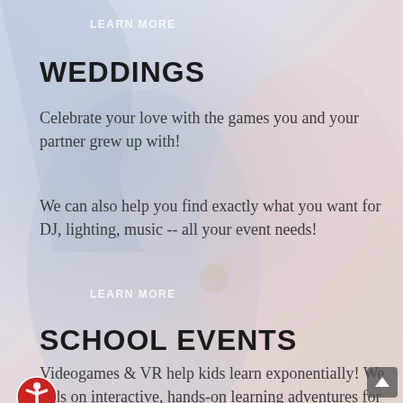LEARN MORE
WEDDINGS
Celebrate your love with the games you and your partner grew up with!
We can also help you find exactly what you want for DJ, lighting, music -- all your event needs!
LEARN MORE
SCHOOL EVENTS
Videogames & VR help kids learn exponentially! We  kids on interactive, hands-on learning adventures for the 21st century.